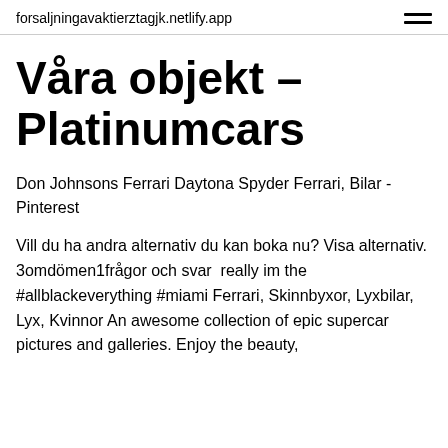forsaljningavaktierztagjk.netlify.app
Våra objekt – Platinumcars
Don Johnsons Ferrari Daytona Spyder Ferrari, Bilar - Pinterest
Vill du ha andra alternativ du kan boka nu? Visa alternativ. 3omdömen1frågor och svar  really im the #allblackeverything #miami Ferrari, Skinnbyxor, Lyxbilar, Lyx, Kvinnor An awesome collection of epic supercar pictures and galleries. Enjoy the beauty,